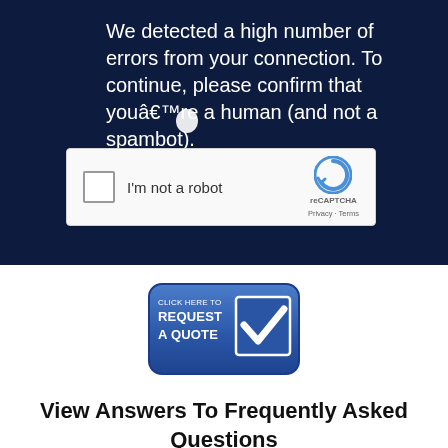We detected a high number of errors from your connection. To continue, please confirm that youâ€™re a human (and not a spambot).
[Figure (screenshot): reCAPTCHA widget with checkbox labeled 'I'm not a robot' and Google reCAPTCHA logo with Privacy and Terms links]
[Figure (other): Blue rounded button with text 'CLICK HERE TO REQUEST A QUOTE' and a checkmark icon]
View Answers To Frequently Asked Questions
[Figure (other): Partial blue rounded button at bottom of page]